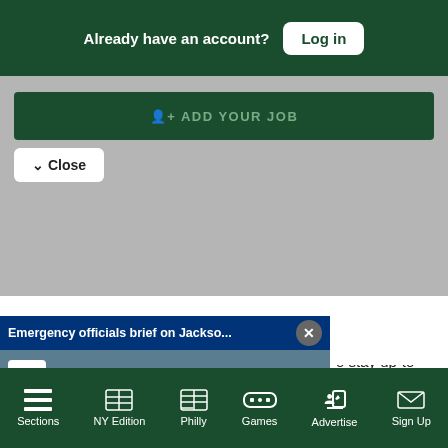Already have an account?
Log in
+ ADD YOUR JOB
Close
[Figure (screenshot): AP News video overlay card showing 'Emergency officials brief on Jackso...' with a scene of people walking on a walkway at a water treatment facility. Includes AP logo, yellow mute button, and text overlay 'EMERGENCY OFFICIALS BRIEF ON JACKSON'S'. A close (X) button is in the top right.]
o stay up-to-date
sletters.
Maine Daily Newsletter
Sections
NY Edition
Philly
Games
Advertise
Sign Up